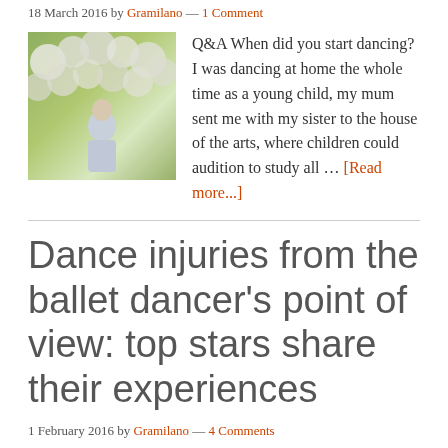18 March 2016 by Gramilano — 1 Comment
[Figure (photo): Photo of a person standing in front of flowering bushes/garden]
Q&A When did you start dancing? I was dancing at home the whole time as a young child, my mum sent me with my sister to the house of the arts, where children could audition to study all … [Read more...]
Dance injuries from the ballet dancer's point of view: top stars share their experiences
1 February 2016 by Gramilano — 4 Comments
[Figure (photo): Small portrait photos of multiple people (avatars/thumbnails)]